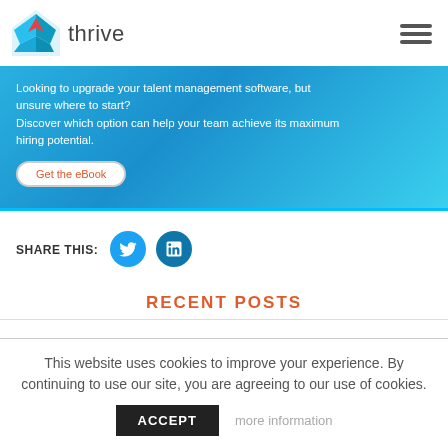thrive
[Figure (illustration): Blue promotional banner with text: Looking to upgrade your talent management software, but unsure where to start? Discover which option can help your team achieve its maximum hiring potential. With a 'Get the eBook' button.]
SHARE THIS:
[Figure (logo): Twitter share button (cyan circle with bird icon) and LinkedIn share button (teal circle with 'in' icon)]
RECENT POSTS
This website uses cookies to improve your experience. By continuing to use our site, you are agreeing to our use of cookies.